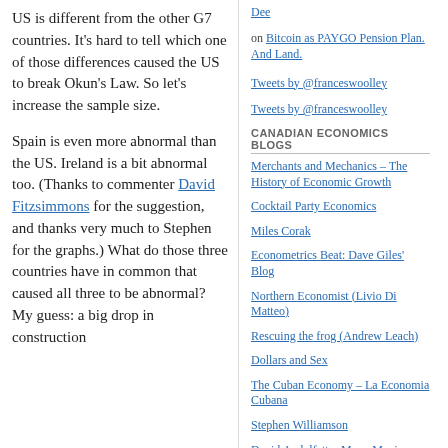US is different from the other G7 countries. It's hard to tell which one of those differences caused the US to break Okun's Law. So let's increase the sample size.
Spain is even more abnormal than the US. Ireland is a bit abnormal too. (Thanks to commenter David Fitzsimmons for the suggestion, and thanks very much to Stephen for the graphs.) What do those three countries have in common that caused all three to be abnormal? My guess: a big drop in construction employment.
Dee on Bitcoin as PAYGO Pension Plan. And Land.
Tweets by @franceswoolley
Tweets by @franceswoolley
CANADIAN ECONOMICS BLOGS
Merchants and Mechanics – The History of Economic Growth
Cocktail Party Economics
Miles Corak
Econometrics Beat: Dave Giles' Blog
Northern Economist (Livio Di Matteo)
Rescuing the frog (Andrew Leach)
Dollars and Sex
The Cuban Economy – La Economia Cubana
Stephen Williamson
David Andolfatto: MacroMania